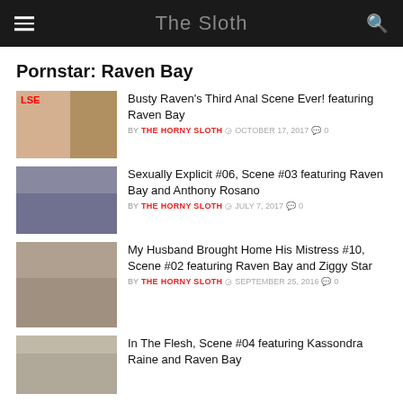The Sloth
Pornstar: Raven Bay
Busty Raven's Third Anal Scene Ever! featuring Raven Bay — BY THE HORNY SLOTH  OCTOBER 17, 2017  0
Sexually Explicit #06, Scene #03 featuring Raven Bay and Anthony Rosano — BY THE HORNY SLOTH  JULY 7, 2017  0
My Husband Brought Home His Mistress #10, Scene #02 featuring Raven Bay and Ziggy Star — BY THE HORNY SLOTH  SEPTEMBER 25, 2016  0
In The Flesh, Scene #04 featuring Kassondra Raine and Raven Bay